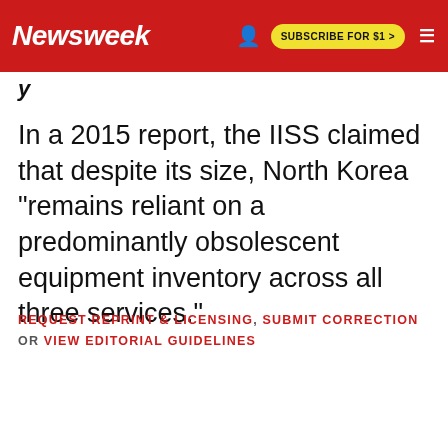Newsweek | SUBSCRIBE FOR $1 >
y
In a 2015 report, the IISS claimed that despite its size, North Korea "remains reliant on a predominantly obsolescent equipment inventory across all three services."
REQUEST REPRINT & LICENSING, SUBMIT CORRECTION OR VIEW EDITORIAL GUIDELINES